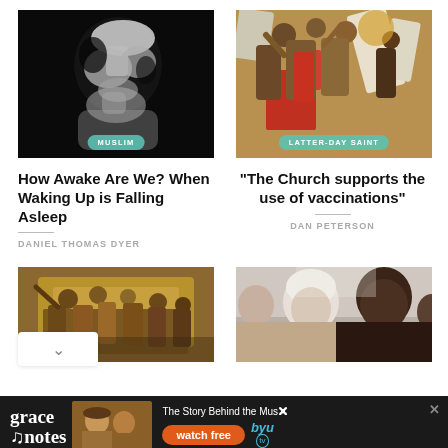[Figure (photo): Black and white photo of a face looking upward against dark background, labeled MUSLIM]
[Figure (photo): Colorful painting of crowded figures in red, gold, and white tones, labeled LATTER-DAY SAINT]
How Awake Are We? When Waking Up is Falling Asleep
DANIEL THOMAS DYER
"The Church supports the use of vaccinations"
DAN PETERSON
[Figure (photo): Painting of a crowd of people in a hall, warm brownish tones]
[Figure (photo): Photo of people including an elderly person and a bald man]
[Figure (other): Grace Notes advertisement banner with watch free button and BYU tv logo]